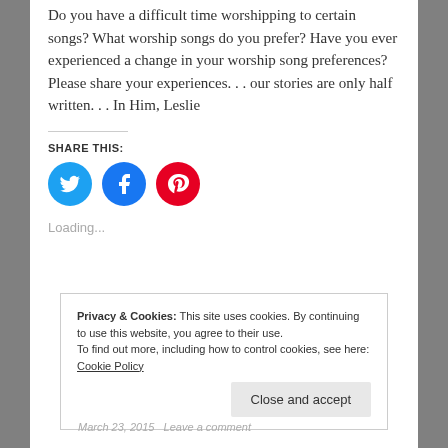Do you have a difficult time worshipping to certain songs? What worship songs do you prefer? Have you ever experienced a change in your worship song preferences? Please share your experiences. . . our stories are only half written. . . In Him, Leslie
SHARE THIS:
[Figure (infographic): Three social media share buttons: Twitter (blue bird icon), Facebook (blue F icon), Pinterest (red P icon)]
Loading...
Privacy & Cookies: This site uses cookies. By continuing to use this website, you agree to their use. To find out more, including how to control cookies, see here: Cookie Policy
March 23, 2015   Leave a comment